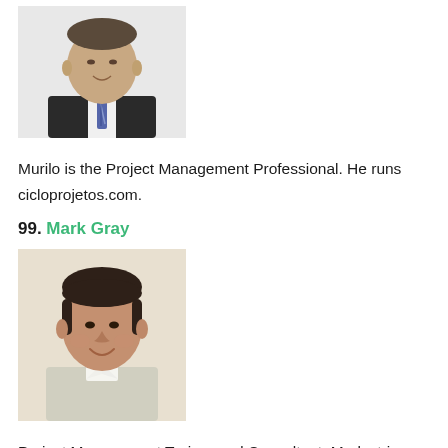[Figure (photo): Professional headshot of a man in a dark suit and striped tie, smiling, against a light background.]
Murilo is the Project Management Professional. He runs cicloprojetos.com.
99. Mark Gray
[Figure (photo): Professional headshot of a middle-aged man with dark hair, wearing a light-colored collared shirt, smiling, against a beige/off-white background.]
Project Management Trainer and Consultant. Mark strives to improve project management practices